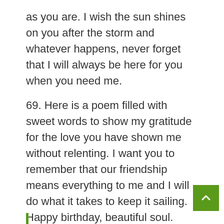as you are. I wish the sun shines on you after the storm and whatever happens, never forget that I will always be here for you when you need me.
69. Here is a poem filled with sweet words to show my gratitude for the love you have shown me without relenting. I want you to remember that our friendship means everything to me and I will do what it takes to keep it sailing. Happy birthday, beautiful soul.
70. Happy birthday to a friend that is worthwhile. Happy birthday to a friend that wouldn't let you down. You have always shown me reasons never to doubt where you stand in every issue. Thank you for being there for me. Happy birthday, dear.